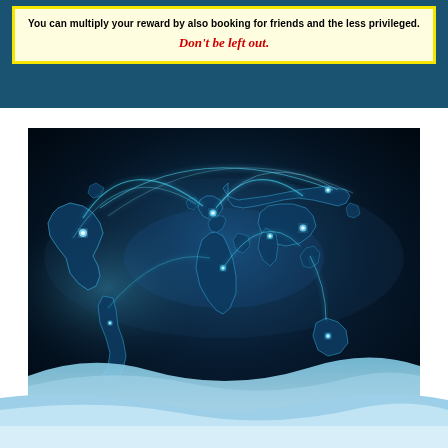You can multiply your reward by also booking for friends and the less privileged. Don't be left out.
[Figure (illustration): Glowing blue world map with interconnected arc lines representing global connectivity/travel routes, on a dark blue/black background with a light blue wave at the bottom]